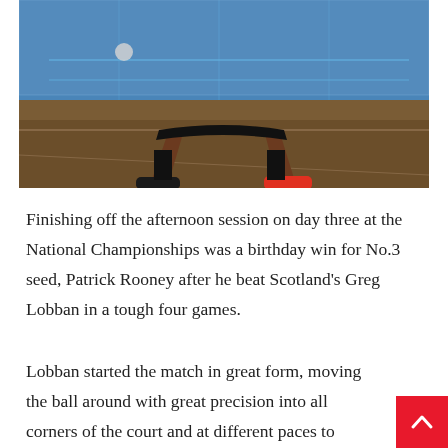[Figure (photo): A squash player in a wide stance on a squash court, legs spread, wearing red shoes and black socks. The court has blue line markings and a glass back wall.]
Finishing off the afternoon session on day three at the National Championships was a birthday win for No.3 seed, Patrick Rooney after he beat Scotland's Greg Lobban in a tough four games.
Lobban started the match in great form, moving the ball around with great precision into all corners of the court and at different paces to disrupt the usual silky smooth rhythm of Rooney. Lobban's efforts were rewarded with an 11-9 win.